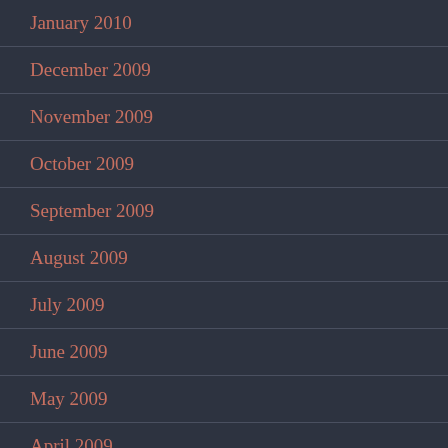January 2010
December 2009
November 2009
October 2009
September 2009
August 2009
July 2009
June 2009
May 2009
April 2009
March 2009
February 2009